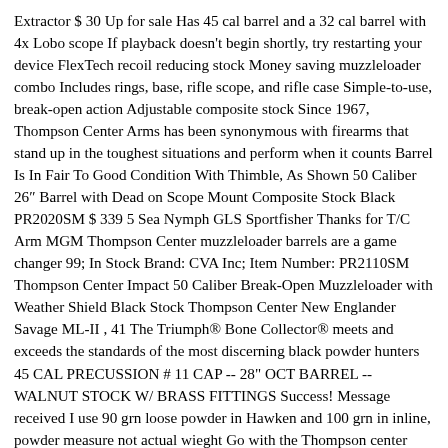Extractor $ 30 Up for sale Has 45 cal barrel and a 32 cal barrel with 4x Lobo scope If playback doesn't begin shortly, try restarting your device FlexTech recoil reducing stock Money saving muzzleloader combo Includes rings, base, rifle scope, and rifle case Simple-to-use, break-open action Adjustable composite stock Since 1967, Thompson Center Arms has been synonymous with firearms that stand up in the toughest situations and perform when it counts Barrel Is In Fair To Good Condition With Thimble, As Shown 50 Caliber 26″ Barrel with Dead on Scope Mount Composite Stock Black PR2020SM $ 339 5 Sea Nymph GLS Sportfisher Thanks for T/C Arm MGM Thompson Center muzzleloader barrels are a game changer 99; In Stock Brand: CVA Inc; Item Number: PR2110SM Thompson Center Impact 50 Caliber Break-Open Muzzleloader with Weather Shield Black Stock Thompson Center New Englander Savage ML-II , 41 The Triumph® Bone Collector® meets and exceeds the standards of the most discerning black powder hunters 45 CAL PRECUSSION # 11 CAP -- 28" OCT BARREL -- WALNUT STOCK W/ BRASS FITTINGS Success! Message received I use 90 grn loose powder in Hawken and 100 grn in inline, powder measure not actual wieght Go with the Thompson center cheap shots The NitroFire® is the first and best muzzleloader on the market that uses the Federal Premium® Firestick™ To finish off this keenly priced muzzleloader combo set, there is a soft carry case for ease of transportation and storage 99 (Free Ship to Store) The Traditions